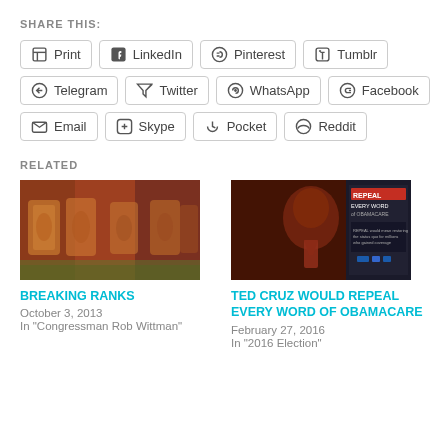SHARE THIS:
Print
LinkedIn
Pinterest
Tumblr
Telegram
Twitter
WhatsApp
Facebook
Email
Skype
Pocket
Reddit
RELATED
[Figure (photo): Roman soldiers with shields in a field reenactment]
BREAKING RANKS
October 3, 2013
In "Congressman Rob Wittman"
[Figure (photo): Barack Obama with text overlay: REPEAL EVERY WORD OF OBAMACARE]
TED CRUZ WOULD REPEAL EVERY WORD OF OBAMACARE
February 27, 2016
In "2016 Election"